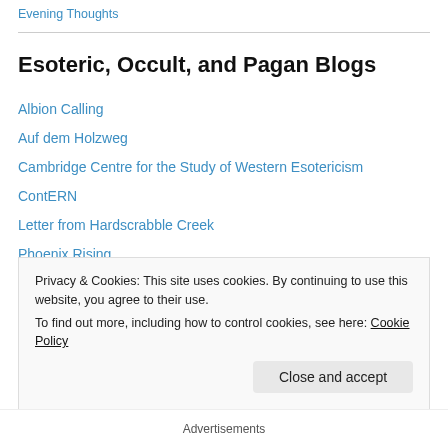Evening Thoughts
Esoteric, Occult, and Pagan Blogs
Albion Calling
Auf dem Holzweg
Cambridge Centre for the Study of Western Esotericism
ContERN
Letter from Hardscrabble Creek
Phoenix Rising
Praeludia Microcosmica
Ritman Library Blog
Sarah Veale
Privacy & Cookies: This site uses cookies. By continuing to use this website, you agree to their use.
To find out more, including how to control cookies, see here: Cookie Policy
Advertisements